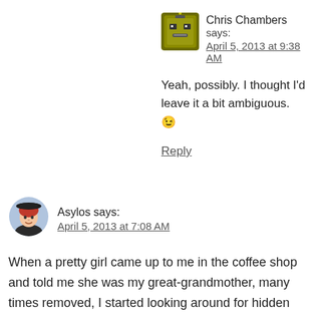[Figure (illustration): Avatar icon for Chris Chambers — pixel-art style robot/character in olive/yellow-green tones]
Chris Chambers says:
April 5, 2013 at 9:38 AM
Yeah, possibly. I thought I'd leave it a bit ambiguous. 😉
Reply
[Figure (photo): Avatar photo of Asylos — a woman with reddish hair wearing a dark hat, circular crop]
Asylos says:
April 5, 2013 at 7:08 AM
When a pretty girl came up to me in the coffee shop and told me she was my great-grandmother, many times removed, I started looking around for hidden cameras.